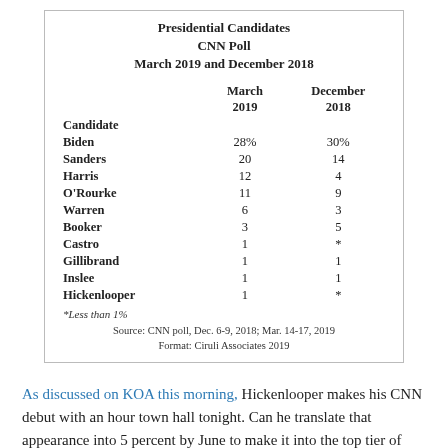| Candidate | March 2019 | December 2018 |
| --- | --- | --- |
| Biden | 28% | 30% |
| Sanders | 20 | 14 |
| Harris | 12 | 4 |
| O'Rourke | 11 | 9 |
| Warren | 6 | 3 |
| Booker | 3 | 5 |
| Castro | 1 | * |
| Gillibrand | 1 | 1 |
| Inslee | 1 | 1 |
| Hickenlooper | 1 | * |
*Less than 1%
Source: CNN poll, Dec. 6-9, 2018; Mar. 14-17, 2019
Format: Ciruli Associates 2019
As discussed on KOA this morning, Hickenlooper makes his CNN debut with an hour town hall tonight. Can he translate that appearance into 5 percent by June to make it into the top tier of candidates? (John Kerry, who got 4 percent, was not listed due to no evidence, yet he's mounting a campaign.)